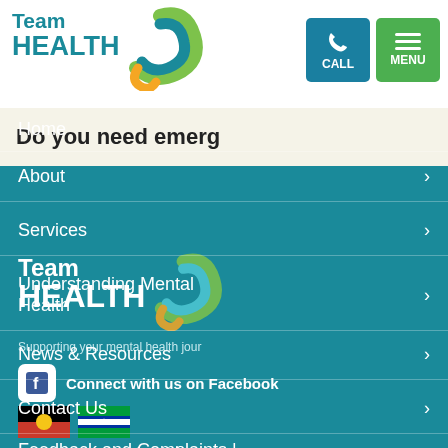[Figure (logo): TeamHEALTH logo with teal swirl graphic in header]
[Figure (screenshot): CALL button (teal) and MENU button (green) in top right header]
Do you need emerg
Home
About >
Services >
Understanding Mental Health >
News & Resources >
Contact Us >
Feedback and Complaints |
[Figure (logo): TeamHEALTH logo with swirl on teal background panel]
Supporting your mental health jour
[Figure (illustration): Facebook icon (white F on white rounded square background)]
Connect with us on Facebook
[Figure (illustration): Aboriginal flag and Torres Strait Islander flag icons]
TeamHEALTH acknowl
the Traditional O...